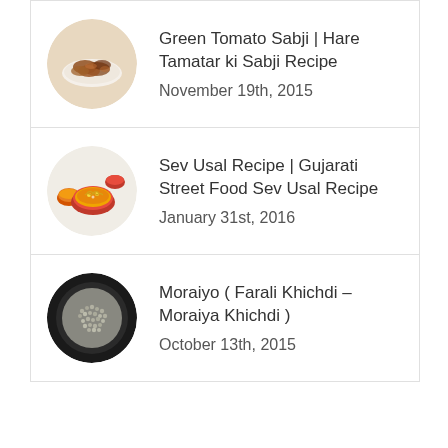Green Tomato Sabji | Hare Tamatar ki Sabji Recipe
November 19th, 2015
Sev Usal Recipe | Gujarati Street Food Sev Usal Recipe
January 31st, 2016
Moraiyo ( Farali Khichdi – Moraiya Khichdi )
October 13th, 2015